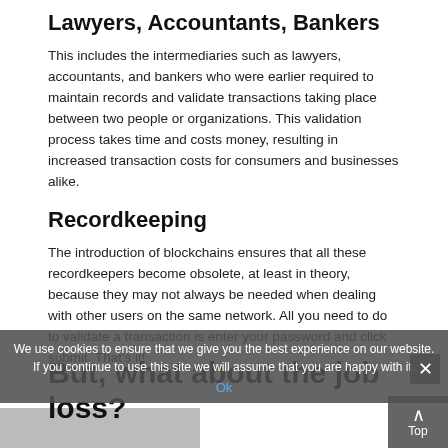Lawyers, Accountants, Bankers
This includes the intermediaries such as lawyers, accountants, and bankers who were earlier required to maintain records and validate transactions taking place between two people or organizations. This validation process takes time and costs money, resulting in increased transaction costs for consumers and businesses alike.
Recordkeeping
The introduction of blockchains ensures that all these recordkeepers become obsolete, at least in theory, because they may not always be needed when dealing with other users on the same network. All you need to do to validate a transaction is enter your password and click submit. That's it!
But, what about the job loss?
We use cookies to ensure that we give you the best experience on our website. If you continue to use this site we will assume that you are happy with it.